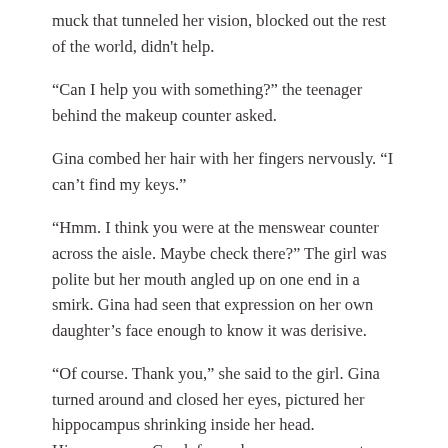muck that tunneled her vision, blocked out the rest of the world, didn't help.
“Can I help you with something?” the teenager behind the makeup counter asked.
Gina combed her hair with her fingers nervously. “I can’t find my keys.”
“Hmm. I think you were at the menswear counter across the aisle. Maybe check there?” The girl was polite but her mouth angled up on one end in a smirk. Gina had seen that expression on her own daughter’s face enough to know it was derisive.
“Of course. Thank you,” she said to the girl. Gina turned around and closed her eyes, pictured her hippocampus shrinking inside her head. Hippocampus, Greek for seahorse or sea monster, swimming in stasis within each hemisphere of